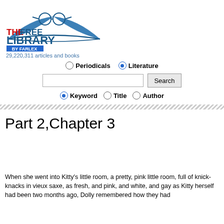[Figure (logo): The Free Library by Farlex logo with glasses and book graphic]
29,220,311 articles and books
Periodicals   Literature
Keyword   Title   Author
Part 2,Chapter 3
When she went into Kitty's little room, a pretty, pink little room, full of knick-knacks in vieux saxe, as fresh, and pink, and white, and gay as Kitty herself had been two months ago, Dolly remembered how they had